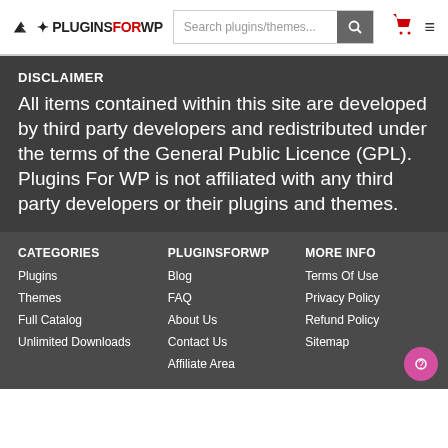PLUGINSFORWP | Search plugins/themes...
DISCLAIMER
All items contained within this site are developed by third party developers and redistributed under the terms of the General Public Licence (GPL). Plugins For WP is not affiliated with any third party developers or their plugins and themes.
CATEGORIES
Plugins
Themes
Full Catalog
Unlimited Downloads
PLUGINSFORWP
Blog
FAQ
About Us
Contact Us
Affiliate Area
MORE INFO
Terms Of Use
Privacy Policy
Refund Policy
Sitemap